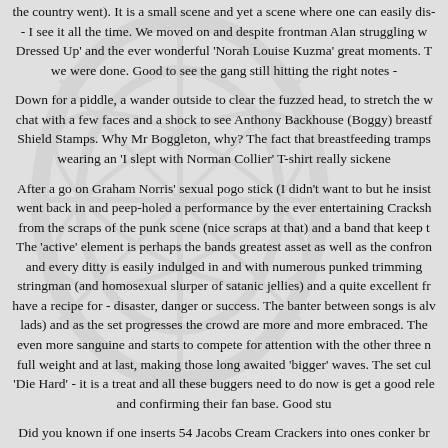the country went). It is a small scene and yet a scene where one can easily dis- I see it all the time. We moved on and despite frontman Alan struggling w Dressed Up' and the ever wonderful 'Norah Louise Kuzma' great moments. T we were done. Good to see the gang still hitting the right notes -
Down for a piddle, a wander outside to clear the fuzzed head, to stretch the w chat with a few faces and a shock to see Anthony Backhouse (Boggy) breastf Shield Stamps. Why Mr Boggleton, why? The fact that breastfeeding tramps wearing an 'I slept with Norman Collier' T-shirt really sickene
After a go on Graham Norris' sexual pogo stick (I didn't want to but he insist went back in and peep-holed a performance by the ever entertaining Cracksh from the scraps of the punk scene (nice scraps at that) and a band that keep t The 'active' element is perhaps the bands greatest asset as well as the confron and every ditty is easily indulged in and with numerous punked trimming stringman (and homosexual slurper of satanic jellies) and a quite excellent fr have a recipe for - disaster, danger or success. The banter between songs is alv lads) and as the set progresses the crowd are more and more embraced. The even more sanguine and starts to compete for attention with the other three n full weight and at last, making those long awaited 'bigger' waves. The set cul 'Die Hard' - it is a treat and all these buggers need to do now is get a good rele and confirming their fan base. Good stu
Did you known if one inserts 54 Jacobs Cream Crackers into ones conker br resulting expulsion will be 86% drier than a normal bowel movement and ca tea coaster. No I didn't know that either and thanks must go to Steve (No I d Isles for his willingness to part with such fascinating a
4 Past Midnight next (no not the time after 3 Minutes Past Midnight and 59